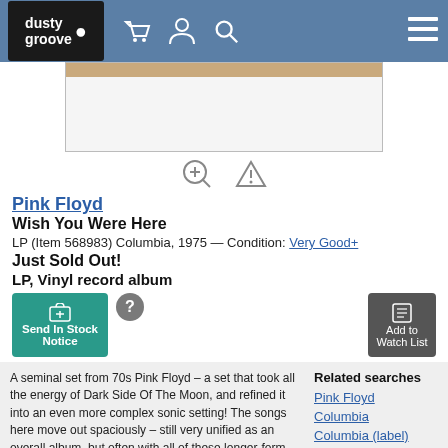dusty groove
[Figure (screenshot): Album cover image area showing top of record sleeve in tan/brown color]
Pink Floyd
Wish You Were Here
LP (Item 568983) Columbia, 1975 — Condition: Very Good+
Just Sold Out!
LP, Vinyl record album
Send In Stock Notice
Add to Watch List
A seminal set from 70s Pink Floyd – a set that took all the energy of Dark Side Of The Moon, and refined it into an even more complex sonic setting! The songs here move out spaciously – still very unified as an overall album, but often with all of these longer-form musical ideas, and mature textural elements that really show the progression the group had made in just a few short years – almost as if they were revisiting the open-ended feel of their immediate records after the
Related searches
Pink Floyd
Columbia
Columbia (label)
Rock (CD, LP)